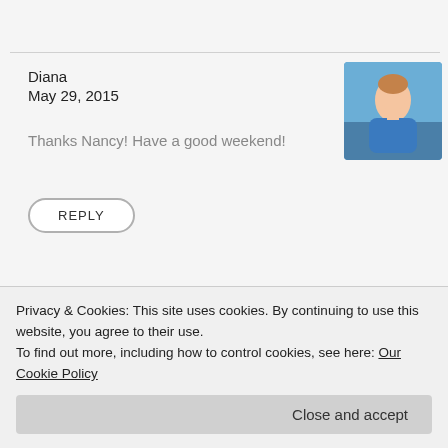Diana
May 29, 2015
Thanks Nancy! Have a good weekend!
[Figure (photo): Avatar photo of Diana, a woman in a blue shirt outdoors]
REPLY
Lyn
May 28, 2015
[Figure (photo): Avatar photo of Lyn, a woman with short light hair wearing a denim jacket]
REPLY
Privacy & Cookies: This site uses cookies. By continuing to use this website, you agree to their use.
To find out more, including how to control cookies, see here: Our Cookie Policy
Close and accept